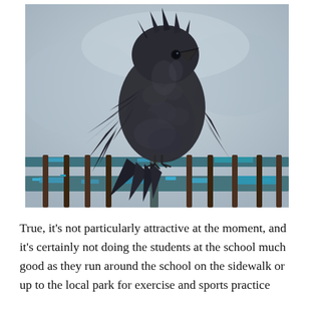[Figure (photo): A dark grey/black crow or jackdaw perched on a rusty metal fence with blue paint peeling off, preening its ruffled feathers. The bird's feathers are dishevelled and spread out. The background is a blurred grey-blue.]
True, it's not particularly attractive at the moment, and it's certainly not doing the students at the school much good as they run around the school on the sidewalk or up to the local park for exercise and sports practice